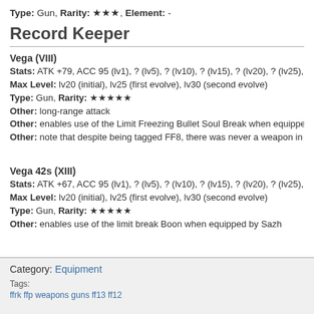Type: Gun, Rarity: ★★★, Element: -
Record Keeper
Vega (VIII)
Stats: ATK +79, ACC 95 (lv1), ? (lv5), ? (lv10), ? (lv15), ? (lv20), ? (lv25),
Max Level: lv20 (initial), lv25 (first evolve), lv30 (second evolve)
Type: Gun, Rarity: ★★★★★
Other: long-range attack
Other: enables use of the Limit Freezing Bullet Soul Break when equippe
Other: note that despite being tagged FF8, there was never a weapon in
Vega 42s (XIII)
Stats: ATK +67, ACC 95 (lv1), ? (lv5), ? (lv10), ? (lv15), ? (lv20), ? (lv25),
Max Level: lv20 (initial), lv25 (first evolve), lv30 (second evolve)
Type: Gun, Rarity: ★★★★★
Other: enables use of the limit break Boon when equipped by Sazh
Category: Equipment
Tags:
ffrk ffp weapons guns ff13 ff12